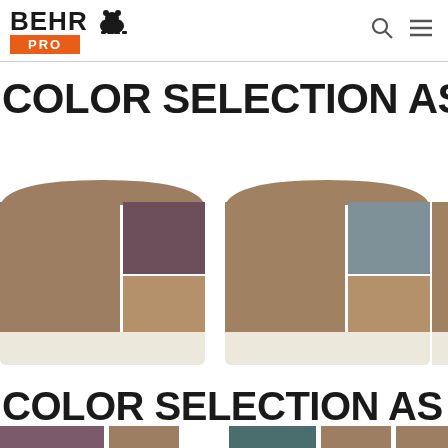[Figure (logo): BEHR PRO logo with bear icon and orange PRO badge]
COLOR SELECTION AS MAIN
[Figure (illustration): Three color palette swatch groups showing main, accent, trim, and ceiling color combinations. First group: tan/brown main, purple accent, medium brown trim, cream bottom. Second group: tan/brown main, slate blue accent, medium brown trim, cream bottom. Third group partially visible.]
COLOR SELECTION AS ACCENT
[Figure (illustration): Partial view of bottom row color palette swatch groups showing accent color selections — purple, tan, teal, tan, tan partial swatches.]